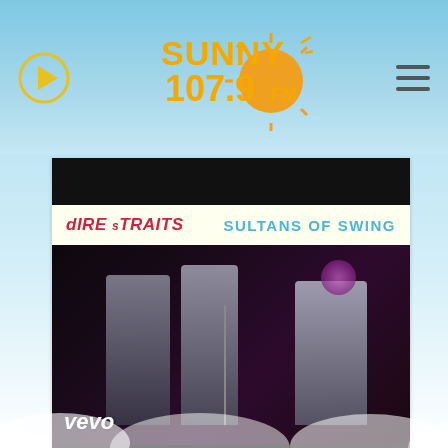[Figure (screenshot): Sunny 107.9 FM radio station website header with logo, play button, and hamburger menu on light blue sky background]
[Figure (screenshot): Dire Straits - Sultans of Swing music video player showing band performing on stage, with vevo watermark and black letterbox bars]
Dire Straits - Sultans of Swing
[Figure (screenshot): Dire Straits - So Far Away thumbnail preview at bottom of page]